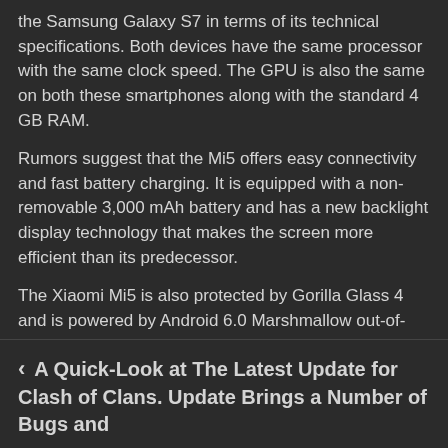the Samsung Galaxy S7 in terms of its technical specifications. Both devices have the same processor with the same clock speed. The GPU is also the same on both these smartphones along with the standard 4 GB RAM.
Rumors suggest that the Mi5 offers easy connectivity and fast battery charging. It is equipped with a non-removable 3,000 mAh battery and has a new backlight display technology that makes the screen more efficient than its predecessor.
The Xiaomi Mi5 is also protected by Gorilla Glass 4 and is powered by Android 6.0 Marshmallow out-of-the-box.
Pages: 1 2
< A Quick-Look at The Latest Update for Clash of Clans. Update Brings a Number of Bugs and